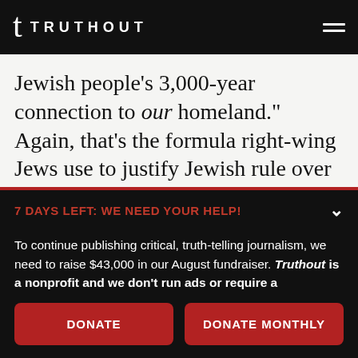t TRUTHOUT
Jewish people's 3,000-year connection to our homeland.” Again, that’s the formula right-wing Jews use to justify Jewish rule over the
7 DAYS LEFT: WE NEED YOUR HELP!
To continue publishing critical, truth-telling journalism, we need to raise $43,000 in our August fundraiser. Truthout is a nonprofit and we don’t run ads or require a subscription – instead, we depend on small donations to survive. Can we count on your support before time runs out?
DONATE
DONATE MONTHLY